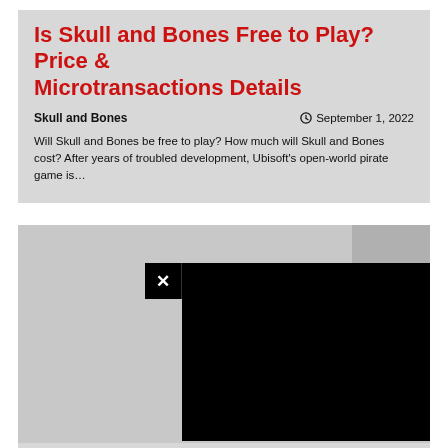Is Skull and Bones Free to Play? Price & Microtransactions Details
Skull and Bones   September 1, 2022
Will Skull and Bones be free to play? How much will Skull and Bones cost? After years of troubled development, Ubisoft's open-world pirate game is…
[Figure (screenshot): Article card with a large gray image placeholder and a black video popup overlay with an X close button in the upper left of the popup]
Roblox DOORS Codes September 2022